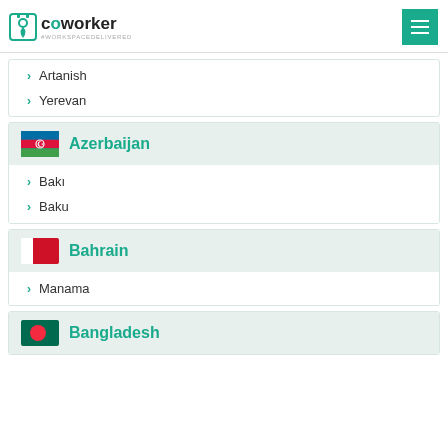coworker #WORKSPACEDELIVERED
Artanish
Yerevan
Azerbaijan
Bakı
Baku
Bahrain
Manama
Bangladesh